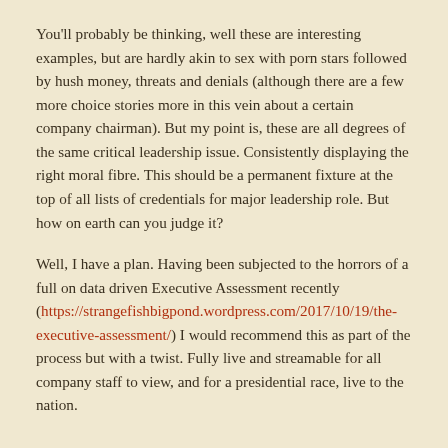You'll probably be thinking, well these are interesting examples, but are hardly akin to sex with porn stars followed by hush money, threats and denials (although there are a few more choice stories more in this vein about a certain company chairman). But my point is, these are all degrees of the same critical leadership issue. Consistently displaying the right moral fibre. This should be a permanent fixture at the top of all lists of credentials for major leadership role. But how on earth can you judge it?
Well, I have a plan. Having been subjected to the horrors of a full on data driven Executive Assessment recently (https://strangefishbigpond.wordpress.com/2017/10/19/the-executive-assessment/) I would recommend this as part of the process but with a twist. Fully live and streamable for all company staff to view, and for a presidential race, live to the nation.